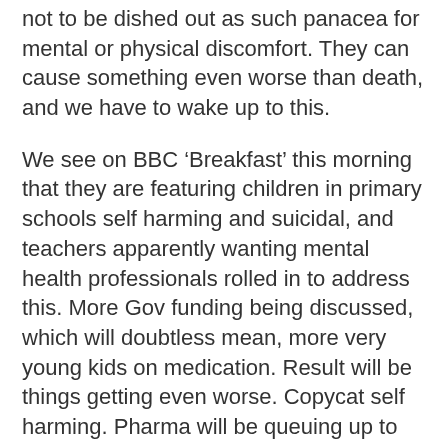not to be dished out as such panacea for mental or physical discomfort.  They can cause something even worse than death, and we have to wake up to this.
We see on BBC ‘Breakfast’ this morning that they are featuring children in primary schools self harming and suicidal, and teachers apparently wanting mental health professionals rolled in to address this.   More Gov funding being discussed, which will doubtless mean, more very young kids on medication.  Result will be things getting even worse. Copycat  self harming.  Pharma will be queuing up to offer Gov bulk bargain deals on kiddies’ antidepressants to save NHS money on care, like they did with statins.
Olly wanted to make a difference.  His giving up of life could do this.  We can talk and do about him and his death and what caused it.  It shocks people, but they listen.